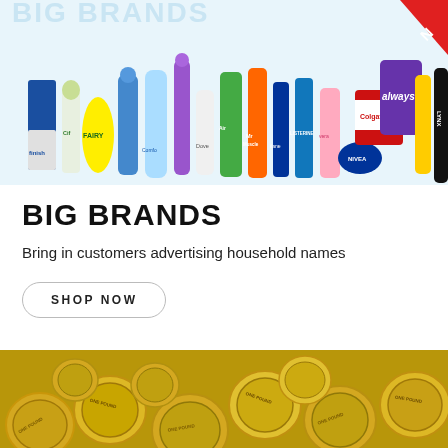[Figure (photo): A wide banner showing rows of household brand products including Finish, Fairy, Cif, Comfort, Air Wick, Mr Muscle, Listerine, Nivea, Colgate, Always, Lynx, and other cleaning and personal care products lined up together.]
BIG BRANDS
Bring in customers advertising household names
SHOP NOW
[Figure (photo): A close-up photo of many UK One Pound coins piled together, showing the gold and silver bimetallic coins with the one pound denomination visible on many of them.]